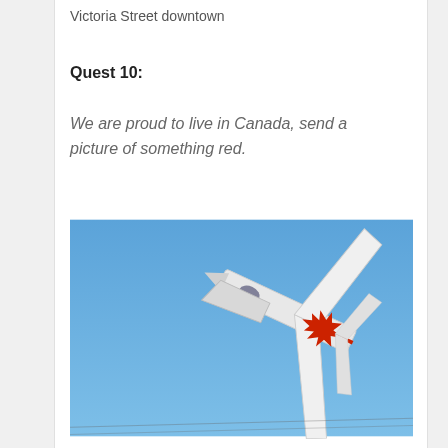Victoria Street downtown
Quest 10:
We are proud to live in Canada, send a picture of something red.
[Figure (photo): A white jet fighter aircraft photographed from below against a clear blue sky, with a large red Canadian maple leaf insignia on the underside of the fuselage/wing, pointing upward at a steep angle.]